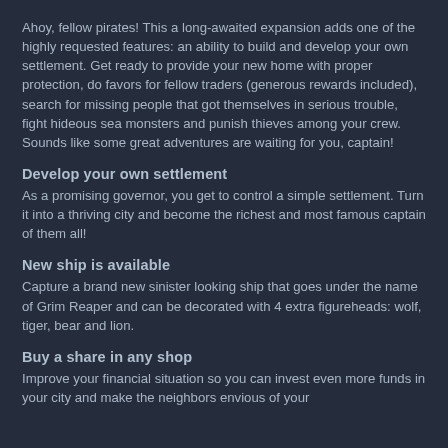Ahoy, fellow pirates! This a long-awaited expansion adds one of the highly requested features: an ability to build and develop your own settlement. Get ready to provide your new home with proper protection, do favors for fellow traders (generous rewards included), search for missing people that got themselves in serious trouble, fight hideous sea monsters and punish thieves among your crew. Sounds like some great adventures are waiting for you, captain!
Develop your own settlement
As a promising governor, you get to control a simple settlement. Turn it into a thriving city and become the richest and most famous captain of them all!
New ship is available
Capture a brand new sinister looking ship that goes under the name of Grim Reaper and can be decorated with 4 extra figureheads: wolf, tiger, bear and lion.
Buy a share in any shop
Improve your financial situation so you can invest even more funds in your city and make the neighbors envious of your...